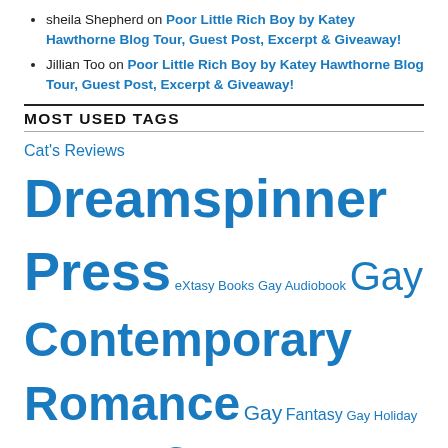sheila Shepherd on Poor Little Rich Boy by Katey Hawthorne Blog Tour, Guest Post, Excerpt & Giveaway!
Jillian Too on Poor Little Rich Boy by Katey Hawthorne Blog Tour, Guest Post, Excerpt & Giveaway!
MOST USED TAGS
Cat's Reviews Dreamspinner Press eXtasy Books Gay Audiobook Gay Contemporary Romance Gay Fantasy Gay Holiday Gay Mystery/Suspense Gay Paranormal Romance Gay Re-Release Gay Science Fiction Gay Self Published Gay Urban Fantasy Gigi's Reviews GLBT Audiobook GLBT BDSM GLBT Contemporary Romance GLBT Erotic Romance GLBT Fantasy